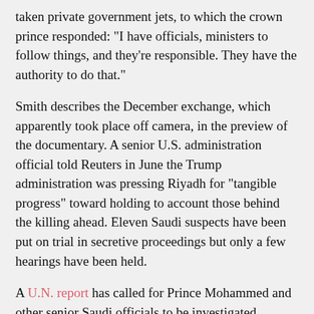taken private government jets, to which the crown prince responded: "I have officials, ministers to follow things, and they're responsible. They have the authority to do that."
Smith describes the December exchange, which apparently took place off camera, in the preview of the documentary. A senior U.S. administration official told Reuters in June the Trump administration was pressing Riyadh for "tangible progress" toward holding to account those behind the killing ahead. Eleven Saudi suspects have been put on trial in secretive proceedings but only a few hearings have been held.
A U.N. report has called for Prince Mohammed and other senior Saudi officials to be investigated. Khashoggi, a Washington Post columnist, was last seen at the Saudi consulate in Istanbul on Oct. 2, where he was to receive